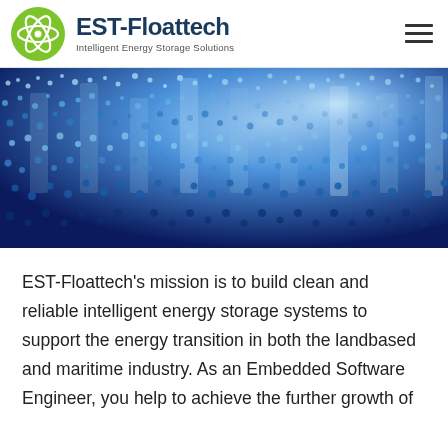[Figure (logo): EST-Floattech logo: green circle with atomic/molecule icon, company name 'EST-Floattech' and tagline 'Intelligent Energy Storage Solutions']
[Figure (photo): Hero banner photo: close-up of blue illuminated digital dot-matrix display showing data/numbers in cyan and blue tones]
EST-Floattech's mission is to build clean and reliable intelligent energy storage systems to support the energy transition in both the landbased and maritime industry. As an Embedded Software Engineer, you help to achieve the further growth of